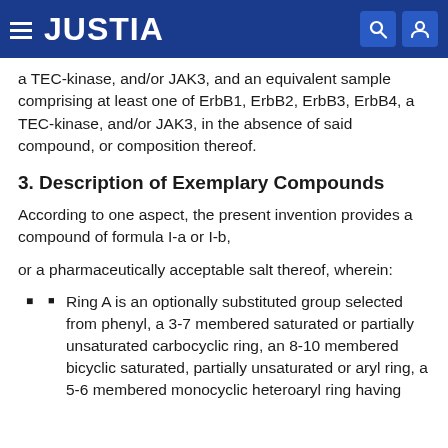JUSTIA
a TEC-kinase, and/or JAK3, and an equivalent sample comprising at least one of ErbB1, ErbB2, ErbB3, ErbB4, a TEC-kinase, and/or JAK3, in the absence of said compound, or composition thereof.
3. Description of Exemplary Compounds
According to one aspect, the present invention provides a compound of formula I-a or I-b,
or a pharmaceutically acceptable salt thereof, wherein:
Ring A is an optionally substituted group selected from phenyl, a 3-7 membered saturated or partially unsaturated carbocyclic ring, an 8-10 membered bicyclic saturated, partially unsaturated or aryl ring, a 5-6 membered monocyclic heteroaryl ring having